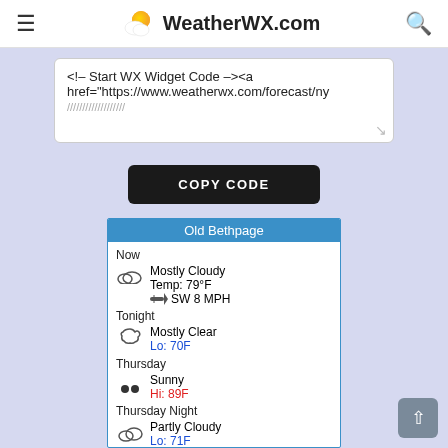WeatherWX.com
<!-- Start WX Widget Code --><a href="https://www.weatherwx.com/forecast/ny...
COPY CODE
[Figure (infographic): Weather widget for Old Bethpage showing current conditions: Now - Mostly Cloudy, Temp 79F, SW 8 MPH; Tonight - Mostly Clear, Lo 70F; Thursday - Sunny, Hi 89F; Thursday Night - Partly Cloudy, Lo 71F; Friday - Chance of T-Storm, Hi 89F]